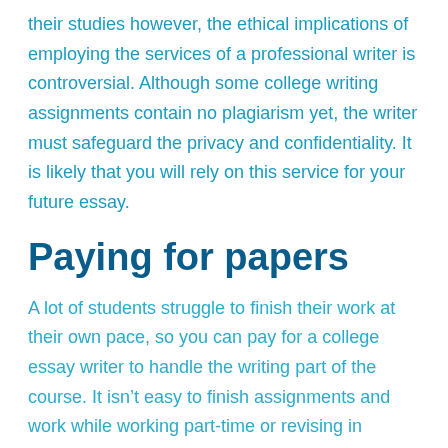their studies however, the ethical implications of employing the services of a professional writer is controversial. Although some college writing assignments contain no plagiarism yet, the writer must safeguard the privacy and confidentiality. It is likely that you will rely on this service for your future essay.
Paying for papers
A lot of students struggle to finish their work at their own pace, so you can pay for a college essay writer to handle the writing part of the course. It isn't easy to finish assignments and work while working part-time or revising in preparation for an exam. The teacher will likely expect to see a lot of you and might require students to purchase